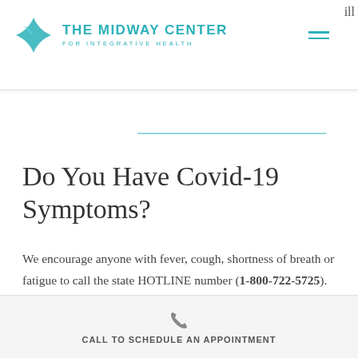THE MIDWAY CENTER FOR INTEGRATIVE HEALTH
Do You Have Covid-19 Symptoms?
We encourage anyone with fever, cough, shortness of breath or fatigue to call the state HOTLINE number (1-800-722-5725). Call us if you would like supplement recommendations for
CALL TO SCHEDULE AN APPOINTMENT